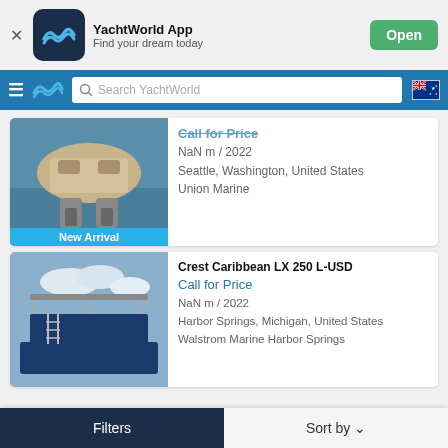[Figure (screenshot): YachtWorld App banner with icon, name, tagline, and Open button]
[Figure (screenshot): Navigation bar with hamburger menu, YachtWorld logo, search bar, and Australian flag]
[Figure (photo): Aerial/rear view of a boat with twin outboard motors on water, labeled New Arrival]
Call for Price
NaN m / 2022
Seattle, Washington, United States
Union Marine
Crest Caribbean LX 250 L-USD
Call for Price
NaN m / 2022
Harbor Springs, Michigan, United States
Walstrom Marine Harbor Springs
[Figure (photo): Photo of a pontoon boat with upper deck/canopy structure against cloudy sky]
Filters   Sort by